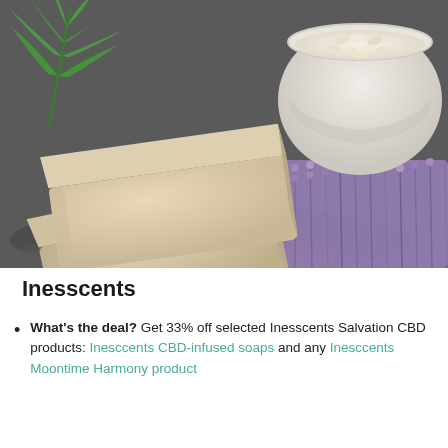[Figure (photo): Photo of two stacked natural beige soap bars on a dark tray, with a hemp/cannabis leaf on the left, a bowl of oats in the upper right, and purple lavender flowers in the lower right background.]
Inesscents
What's the deal? Get 33% off selected Inesscents Salvation CBD products: Inesccents CBD-infused soaps and any Inesccents Moontime Harmony product